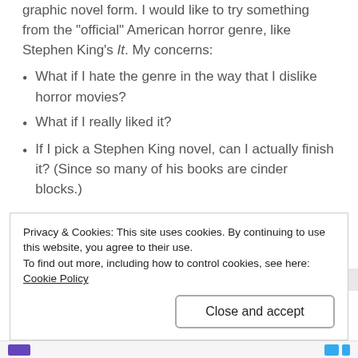graphic novel form. I would like to try something from the “official” American horror genre, like Stephen King’s It. My concerns:
What if I hate the genre in the way that I dislike horror movies?
What if I really liked it?
If I pick a Stephen King novel, can I actually finish it? (Since so many of his books are cinder blocks.)
Works Best
Privacy & Cookies: This site uses cookies. By continuing to use this website, you agree to their use.
To find out more, including how to control cookies, see here: Cookie Policy
Close and accept